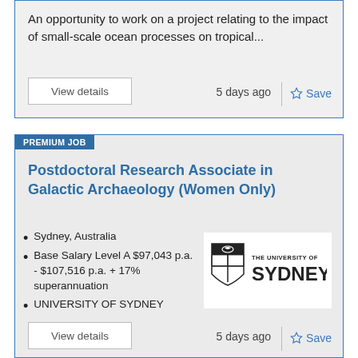An opportunity to work on a project relating to the impact of small-scale ocean processes on tropical...
View details
5 days ago
Save
PREMIUM JOB
Postdoctoral Research Associate in Galactic Archaeology (Women Only)
Sydney, Australia
Base Salary Level A $97,043 p.a. - $107,516 p.a. + 17% superannuation
UNIVERSITY OF SYDNEY
[Figure (logo): The University of Sydney shield logo with text]
The successful applicant will be based at the Sydney Institute for Astronomy in the School of Physics, but...
View details
5 days ago
Save